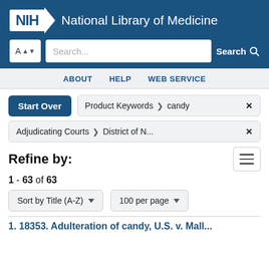[Figure (logo): NIH National Library of Medicine logo with search bar]
ABOUT  HELP  WEB SERVICE
Start Over  Product Keywords > candy ×
Adjudicating Courts > District of N... ×
Refine by:
1 - 63 of 63
Sort by Title (A-Z)   100 per page
1. 18353. Adulteration of candy, U.S. v. Mall...